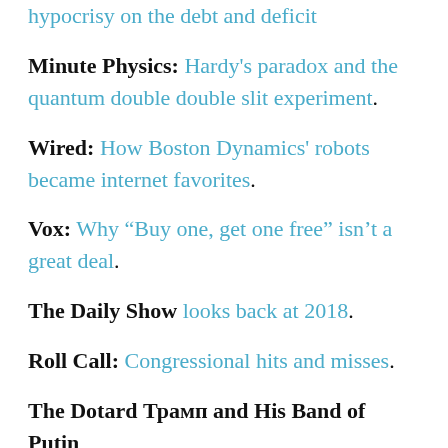hypocrisy on the debt and deficit
Minute Physics: Hardy's paradox and the quantum double double slit experiment.
Wired: How Boston Dynamics' robots became internet favorites.
Vox: Why “Buy one, get one free” isn’t a great deal.
The Daily Show looks back at 2018.
Roll Call: Congressional hits and misses.
The Dotard Трамп and His Band of Putin